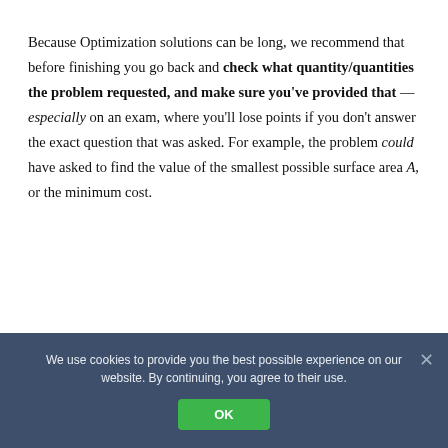Because Optimization solutions can be long, we recommend that before finishing you go back and check what quantity/quantities the problem requested, and make sure you've provided that — especially on an exam, where you'll lose points if you don't answer the exact question that was asked. For example, the problem could have asked to find the value of the smallest possible surface area A, or the minimum cost.
We use cookies to provide you the best possible experience on our website. By continuing, you agree to their use.